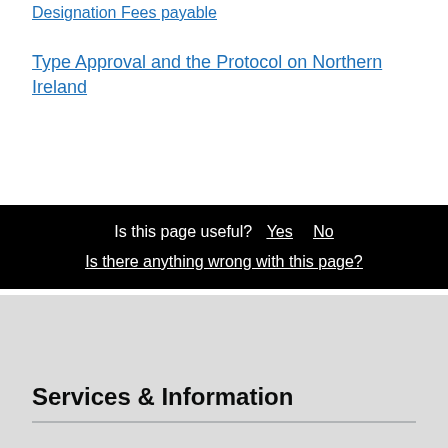Designation Fees payable
Type Approval and the Protocol on Northern Ireland
Is this page useful?  Yes  No
Is there anything wrong with this page?
Services & Information